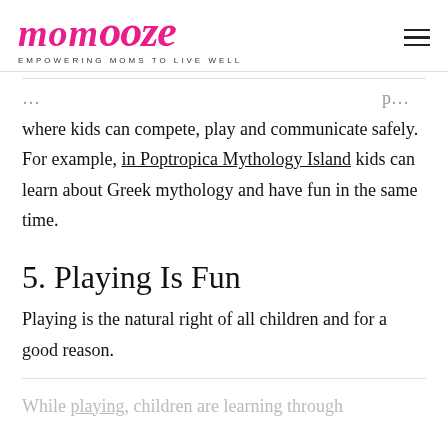momooze — EMPOWERING MOMS TO LIVE WELL
where kids can compete, play and communicate safely. For example, in Poptropica Mythology Island kids can learn about Greek mythology and have fun in the same time.
5. Playing Is Fun
Playing is the natural right of all children and for a good reason.
While playing, children are learning through